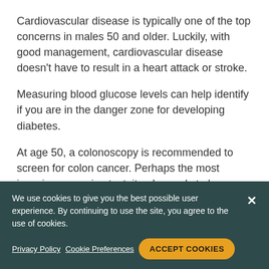Cardiovascular disease is typically one of the top concerns in males 50 and older. Luckily, with good management, cardiovascular disease doesn't have to result in a heart attack or stroke.
Measuring blood glucose levels can help identify if you are in the danger zone for developing diabetes.
At age 50, a colonoscopy is recommended to screen for colon cancer. Perhaps the most invasive screening test, it only needs to happen each decade after the first exam at age 50.
You are now also at the age where the prostate gland can begin to make itself known – with
We use cookies to give you the best possible user experience. By continuing to use the site, you agree to the use of cookies.
Privacy Policy   Cookie Preferences   ACCEPT COOKIES